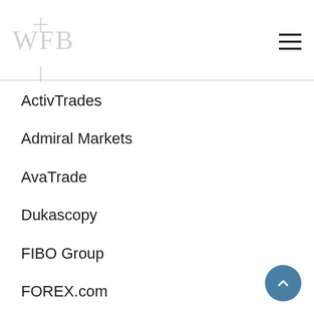WFB
ActivTrades
Admiral Markets
AvaTrade
Dukascopy
FIBO Group
FOREX.com
FXCM
FxPro
IG
InstaForex
LCG